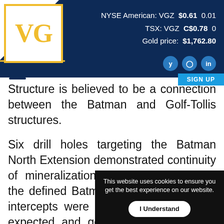NYSE American: VGZ $0.61 0.01 | TSX: VGZ C$0.78 0 | Gold price: $1,762.80
[Figure (logo): VG gold logo in square frame with yellow border]
Structure is believed to be a connection between the Batman and Golf-Tollis structures.
Six drill holes targeting the Batman North Extension demonstrated continuity of mineralization immediately north of the defined Batman deposit. Again, drill intercepts were thicker than previously expected and generally m... in the center ... veining, minera... are comparable...
This website uses cookies to ensure you get the best experience on our website.